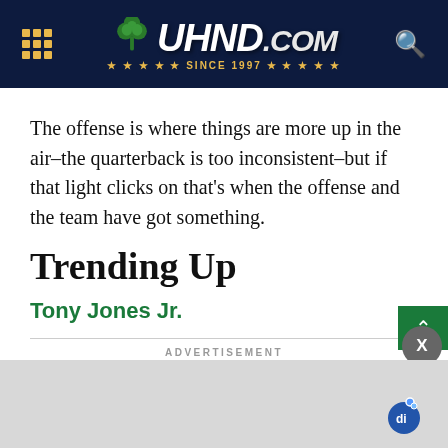UHND.com since 1997
The offense is where things are more up in the air–the quarterback is too inconsistent–but if that light clicks on that's when the offense and the team have got something.
Trending Up
Tony Jones Jr.
ADVERTISEMENT